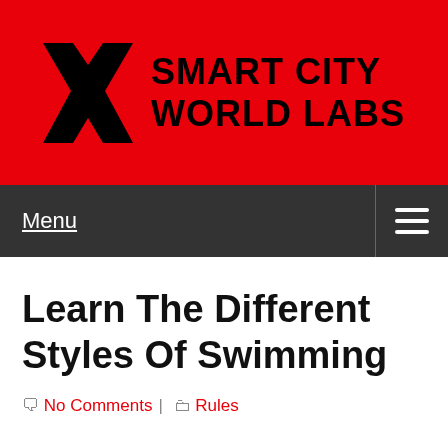[Figure (logo): Smart City World Labs logo: bold black X mark on red background with brand name text]
Menu
Learn The Different Styles Of Swimming
No Comments | Rules